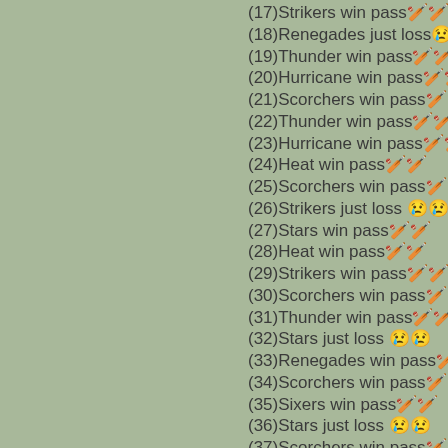(17)Strikers win pass🏏🏏
(18)Renegades just loss😢😢
(19)Thunder win pass🏏🏏
(20)Hurricane win pass🏏🏏
(21)Scorchers win pass🏏🏏
(22)Thunder win pass🏏🏏
(23)Hurricane win pass🏏🏏
(24)Heat win pass🏏🏏
(25)Scorchers win pass🏏🏏
(26)Strikers just loss 😢😢
(27)Stars win pass🏏🏏
(28)Heat win pass🏏🏏
(29)Strikers win pass🏏🏏
(30)Scorchers win pass🏏🏏
(31)Thunder win pass🏏🏏
(32)Stars just loss 😢😢
(33)Renegades win pass🏏🏏
(34)Scorchers win pass🏏🏏
(35)Sixers win pass🏏🏏
(36)Stars just loss 😢😢
(37)Scorchers win pass🏏🏏
(38)Sixers win pass🏏🏏
(39)Heat win pass🏏🏏